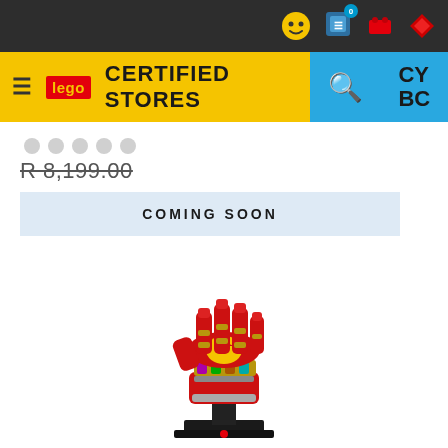[Figure (screenshot): LEGO Certified Stores website header with dark navigation bar showing cart (0), LEGO figure, red LEGO brick icons; yellow banner with LEGO logo, CERTIFIED STORES text; blue section with search and CY BC icons]
[Figure (other): Five grey navigation dots for image carousel]
R 8,199.00
COMING SOON
[Figure (photo): LEGO Iron Man Nano Gauntlet (Infinity Gauntlet) set - red and gold armored glove with colorful infinity stones on knuckles, displayed on a black stand]